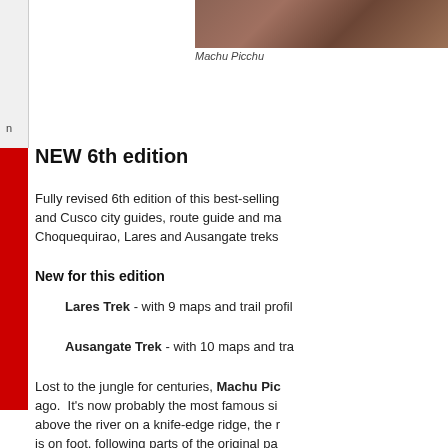[Figure (photo): Aerial/landscape photo of Machu Picchu ruins on a ridge]
Machu Picchu
NEW 6th edition
Fully revised 6th edition of this best-selling and Cusco city guides, route guide and ma Choquequirao, Lares and Ausangate treks
New for this edition
Lares Trek - with 9 maps and trail profil
Ausangate Trek - with 10 maps and tra
Lost to the jungle for centuries, Machu Pic ago. It's now probably the most famous si above the river on a knife-edge ridge, the is on foot, following parts of the original pa
This guide includes hiking options from tw showing walking times, camping places &
Route guides and maps to: • Classic Choquequirao Trek • Lares Trek • Ausa